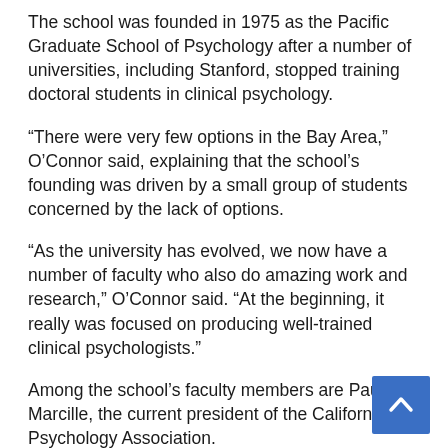The school was founded in 1975 as the Pacific Graduate School of Psychology after a number of universities, including Stanford, stopped training doctoral students in clinical psychology.
“There were very few options in the Bay Area,” O’Connor said, explaining that the school’s founding was driven by a small group of students concerned by the lack of options.
“As the university has evolved, we now have a number of faculty who also do amazing work and research,” O’Connor said. “At the beginning, it really was focused on producing well-trained clinical psychologists.”
Among the school’s faculty members are Paul Marcille, the current president of the California Psychology Association.